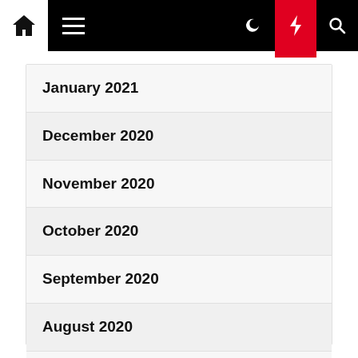Navigation bar with home, menu, moon, lightning, and search icons
January 2021
December 2020
November 2020
October 2020
September 2020
August 2020
July 2020
June 2020